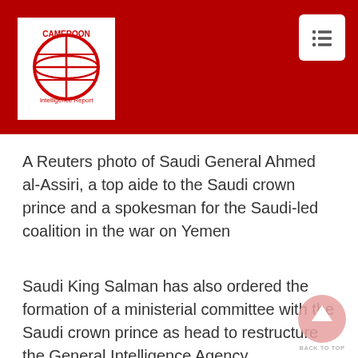Cameroon Intelligence Report
A Reuters photo of Saudi General Ahmed al-Assiri, a top aide to the Saudi crown prince and a spokesman for the Saudi-led coalition in the war on Yemen
Saudi King Salman has also ordered the formation of a ministerial committee with the Saudi crown prince as head to restructure the General Intelligence Agency.